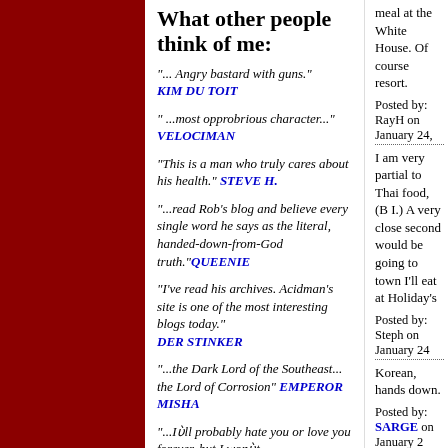What other people think of me:
"... Angry bastard with guns." KIM DU TOIT
" ...most opprobrious character..." VELOCIMAN
"This is a man who truly cares about his health." STEVE H.
"...read Rob's blog and believe every single word he says as the literal, handed-down-from-God truth."QUEENIE
"I've read his archives. Acidman's site is one of the most interesting blogs today." DER STINKER
"...the Dark Lord of the Southeast... the Lord of Corrosion" EMPEROR MISHA
"...I'll probably hate you or love you forever, but I won't
meal at the White House. Of course resort.
Posted by: RayH on January 24,
I am very partial to Thai food, (B I.) A very close second would be going to town I'll eat at Holiday's
Posted by: Steph on January 24
Korean, hands down.
Posted by: SARGE on January 2
I really like indian food since last good I can't stop. of course the r
Posted by: JOE on January 24,
Italian food -- a Jersey staple.
Posted by: JIM -PRS on January
lowcountry
Posted by: Otis on January 24, 2
I'm with Joe on the Indian food. about the only non-Indians there
But Indian food, however good, at the Columbia Restaurant in Yl